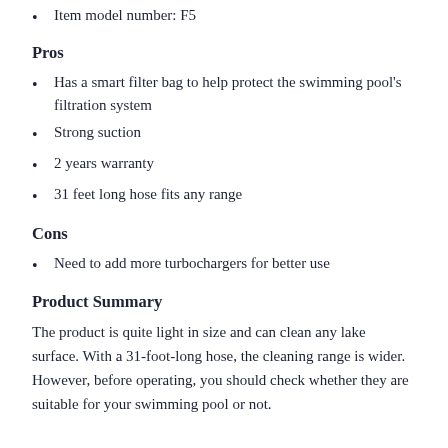Item model number: F5
Pros
Has a smart filter bag to help protect the swimming pool's filtration system
Strong suction
2 years warranty
31 feet long hose fits any range
Cons
Need to add more turbochargers for better use
Product Summary
The product is quite light in size and can clean any lake surface. With a 31-foot-long hose, the cleaning range is wider. However, before operating, you should check whether they are suitable for your swimming pool or not.